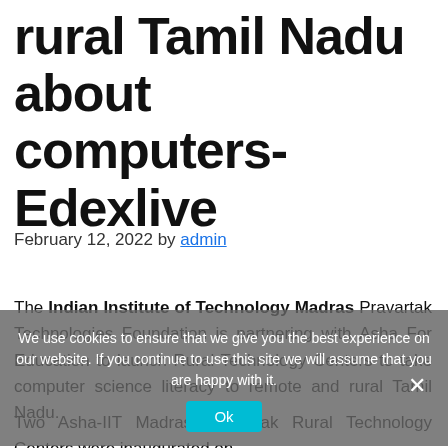rural Tamil Nadu about computers- Edexlive
February 12, 2022 by admin
The Indian Institute of Technology Madras Pravartak Technologies Foundation is partnering with Asha For Education to launch Rural Technology Centers to take computer science literacy to remote and rural Tamil Nadu.
Two Asha-IIT Madras Pravartak Rural Technology Centers were inaugurated on
We use cookies to ensure that we give you the best experience on our website. If you continue to use this site we will assume that you are happy with it.